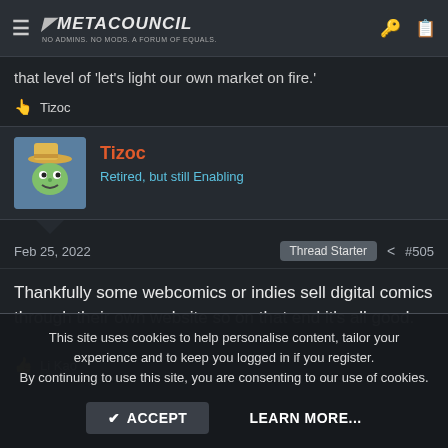METACOUNCIL — No Admins. No Mods. A Forum of Equals.
that level of 'let's light our own market on fire.'
👆 Tizoc
Tizoc
Retired, but still Enabling
Feb 25, 2022   Thread Starter   #505
Thankfully some webcomics or indies sell digital comics through their own website so on that end it's all good.
👍 Li Kao
This site uses cookies to help personalise content, tailor your experience and to keep you logged in if you register.
By continuing to use this site, you are consenting to our use of cookies.

✔ ACCEPT    LEARN MORE...